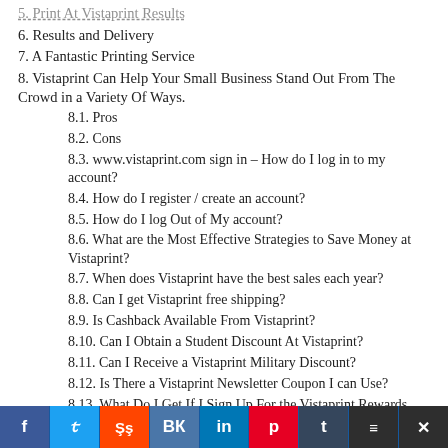6. Results and Delivery
7. A Fantastic Printing Service
8. Vistaprint Can Help Your Small Business Stand Out From The Crowd in a Variety Of Ways.
8.1. Pros
8.2. Cons
8.3. www.vistaprint.com sign in – How do I log in to my account?
8.4. How do I register / create an account?
8.5. How do I log Out of My account?
8.6. What are the Most Effective Strategies to Save Money at Vistaprint?
8.7. When does Vistaprint have the best sales each year?
8.8. Can I get Vistaprint free shipping?
8.9. Is Cashback Available From Vistaprint?
8.10. Can I Obtain a Student Discount At Vistaprint?
8.11. Can I Receive a Vistaprint Military Discount?
8.12. Is There a Vistaprint Newsletter Coupon I can Use?
8.13. What Do I Get If I Sign Up For the Vistaprint Rewards Program?
8.14. How Can I Redeem My Vistaprint Promotional Code?